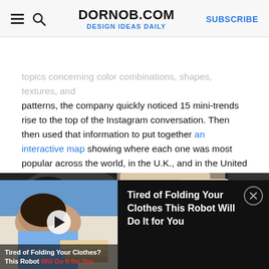DORNOB.COM | DESIGN IDEAS DAILY | SUBSCRIBE
topics concerning color combinations, shapes, textures, and patterns, the company quickly noticed 15 mini-trends rise to the top of the Instagram conversation. Then then used that information to put together an interactive map showing where each one was most popular across the world, in the U.K., and in the United States.
So what exactly are these mini-trends?
[Figure (photo): Photo of a person lying down, wearing a floral bracelet, with fabric/clothing visible]
[Figure (screenshot): Video overlay widget showing 'Tired of Folding Your Clothes This Robot Will Do It for You' with a thumbnail of a person folding clothes, a play button, and a close button]